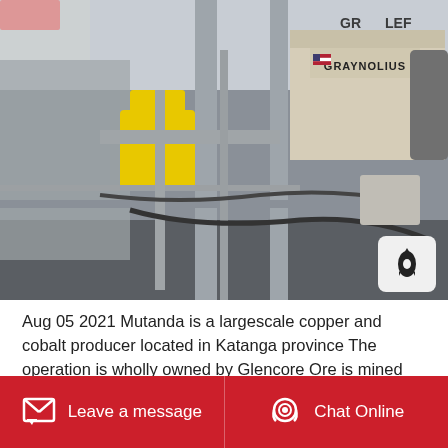[Figure (photo): Industrial mining equipment — conveyor/grinding machinery with yellow and white components, pipes and cables, GRAYNOLIUS brand marking visible, set in a mining facility.]
Aug 05 2021 Mutanda is a largescale copper and cobalt producer located in Katanga province The operation is wholly owned by Glencore Ore is mined using conventional open pit load and haul method prior to leaching to produce final product of copper cathode Cobalt hydroxide and...
Leave a message   Chat Online